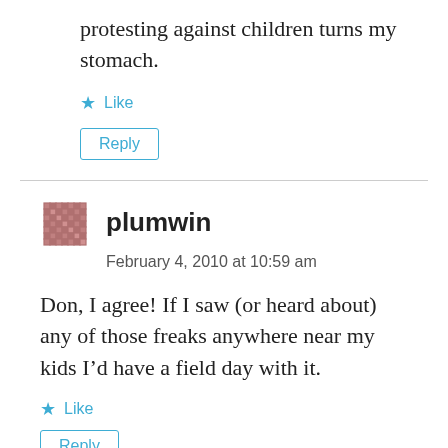protesting against children turns my stomach.
Like
Reply
plumwin
February 4, 2010 at 10:59 am
Don, I agree! If I saw (or heard about) any of those freaks anywhere near my kids I’d have a field day with it.
Like
Reply